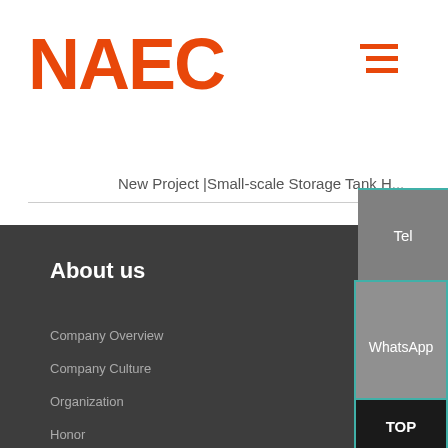NAEC
New Project |Small-scale Storage Tank H...
About us
Company Overview
Company Culture
Organization
Honor
Chronicle of Events
Tel
WhatsApp
E-mail
TOP